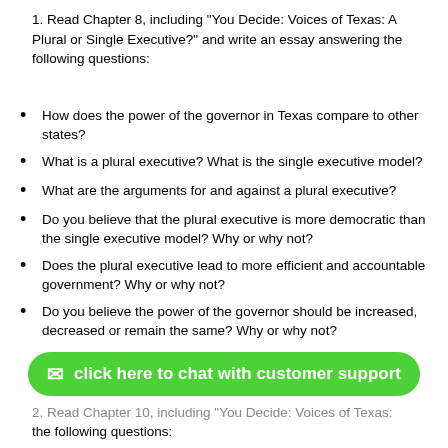1. Read Chapter 8, including “You Decide: Voices of Texas: A Plural or Single Executive?” and write an essay answering the following questions:
How does the power of the governor in Texas compare to other states?
What is a plural executive? What is the single executive model?
What are the arguments for and against a plural executive?
Do you believe that the plural executive is more democratic than the single executive model? Why or why not?
Does the plural executive lead to more efficient and accountable government? Why or why not?
Do you believe the power of the governor should be increased, decreased or remain the same? Why or why not?
2. Read Chapter 10, including “You Decide: Voices of Texas:
the following questions: